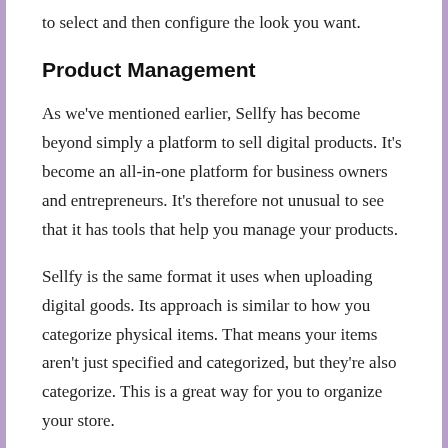to select and then configure the look you want.
Product Management
As we've mentioned earlier, Sellfy has become beyond simply a platform to sell digital products. It's become an all-in-one platform for business owners and entrepreneurs. It's therefore not unusual to see that it has tools that help you manage your products.
Sellfy is the same format it uses when uploading digital goods. Its approach is similar to how you categorize physical items. That means your items aren't just specified and categorized, but they're also categorize. This is a great way for you to organize your store.
There's no limit on how many items you can offer as bonuses. Upload as many products as you like even if you're not used to